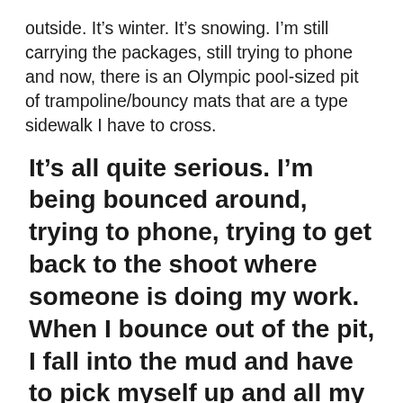outside. It's winter. It's snowing. I'm still carrying the packages, still trying to phone and now, there is an Olympic pool-sized pit of trampoline/bouncy mats that are a type sidewalk I have to cross.
It's all quite serious. I'm being bounced around, trying to phone, trying to get back to the shoot where someone is doing my work. When I bounce out of the pit, I fall into the mud and have to pick myself up and all my belongings are caked in the boot-sucking mud.